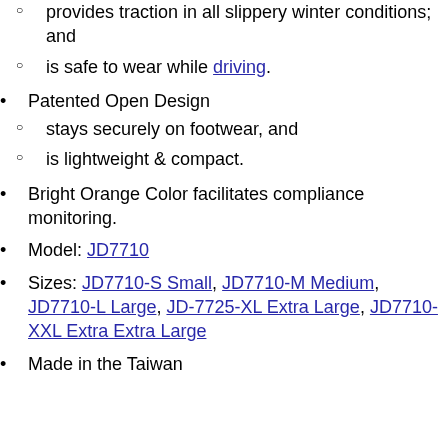provides traction in all slippery winter conditions; and
is safe to wear while driving.
Patented Open Design
stays securely on footwear, and
is lightweight & compact.
Bright Orange Color facilitates compliance monitoring.
Model: JD7710
Sizes: JD7710-S Small, JD7710-M Medium, JD7710-L Large, JD-7725-XL Extra Large, JD7710-XXL Extra Extra Large
Made in the Taiwan